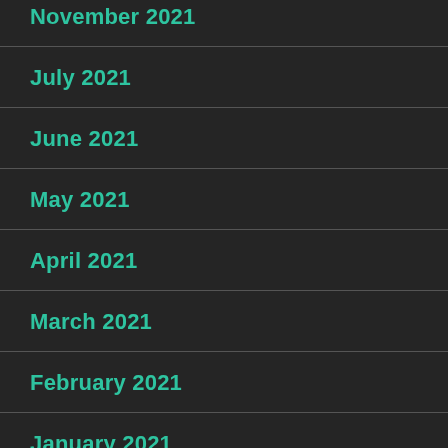November 2021
July 2021
June 2021
May 2021
April 2021
March 2021
February 2021
January 2021
October 2020